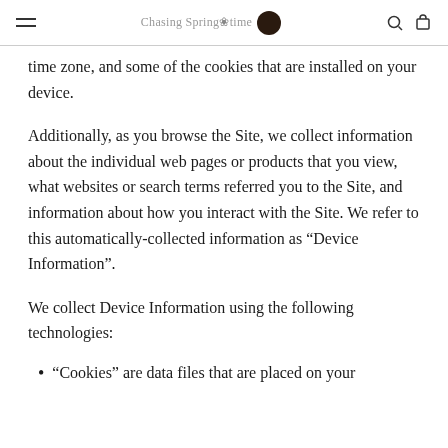Chasing Springtime
time zone, and some of the cookies that are installed on your device.
Additionally, as you browse the Site, we collect information about the individual web pages or products that you view, what websites or search terms referred you to the Site, and information about how you interact with the Site. We refer to this automatically-collected information as “Device Information”.
We collect Device Information using the following technologies:
“Cookies” are data files that are placed on your